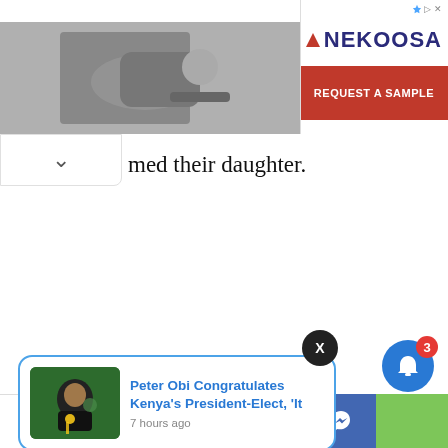[Figure (screenshot): Advertisement banner for Nekoosa wide format media showing text 'Searching for Wide Format Media?' on left and Nekoosa logo with 'REQUEST A SAMPLE' red button on right, with photo of man with printing machine]
med their daughter.
[Figure (screenshot): Push notification card with Peter Obi photo and title 'Peter Obi Congratulates Kenya's President-Elect, 'It' with timestamp '7 hours ago']
10 Shares